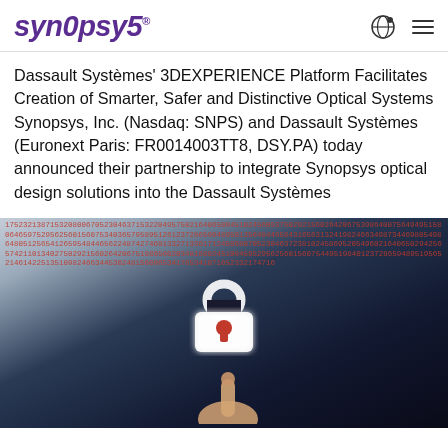SYNOPSYS®
Dassault Systèmes' 3DEXPERIENCE Platform Facilitates Creation of Smarter, Safer and Distinctive Optical Systems Synopsys, Inc. (Nasdaq: SNPS) and Dassault Systèmes (Euronext Paris: FR0014003TT8, DSY.PA) today announced their partnership to integrate Synopsys optical design solutions into the Dassault Systèmes
[Figure (photo): Photograph of a person in dark clothing with digital number streams overlaid on them, and a glowing padlock icon in the center, with a hand pointing at the padlock from below. The numbers appear in red/orange tones suggesting cybersecurity theme.]